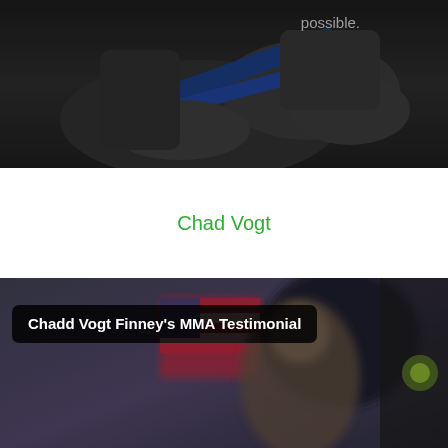[Figure (photo): Dark-toned photo of martial artists in white gi uniforms grappling on a mat, with blue straps/belts visible. White text 'possible.' visible in top right area.]
Chad Vogt
[Figure (screenshot): Video thumbnail showing a blurred person in front of an American flag, with a dark rounded-rectangle overlay containing the title 'Chadd Vogt Finney's MMA Testimonial' in white bold text.]